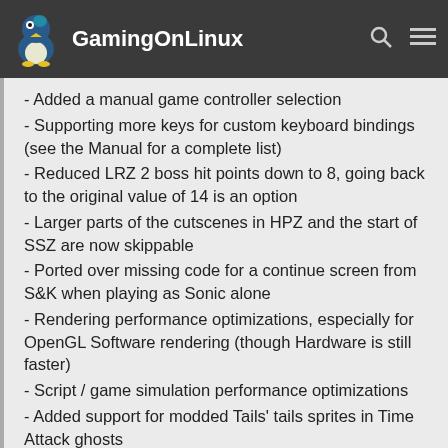GamingOnLinux
- Added a manual game controller selection
- Supporting more keys for custom keyboard bindings (see the Manual for a complete list)
- Reduced LRZ 2 boss hit points down to 8, going back to the original value of 14 is an option
- Larger parts of the cutscenes in HPZ and the start of SSZ are now skippable
- Ported over missing code for a continue screen from S&K when playing as Sonic alone
- Rendering performance optimizations, especially for OpenGL Software rendering (though Hardware is still faster)
- Script / game simulation performance optimizations
- Added support for modded Tails' tails sprites in Time Attack ghosts
- Added support for modded Discord Rich Presence texts